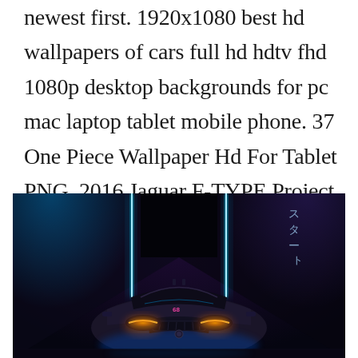newest first. 1920x1080 best hd wallpapers of cars full hd hdtv fhd 1080p desktop backgrounds for pc mac laptop tablet mobile phone. 37 One Piece Wallpaper Hd For Tablet PNG. 2016 Jaguar F-TYPE Project 7. 6 Photos 2008 Hummer HX Concept.
[Figure (photo): Front view of a sports car (Jaguar F-TYPE) with neon blue and purple lighting in a dark tunnel setting, with Japanese characters visible in the background.]